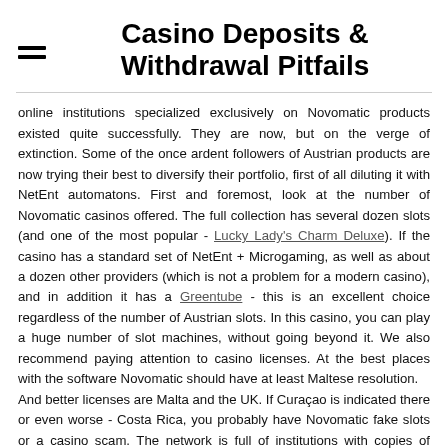Casino Deposits & Withdrawal Pitfalls
online institutions specialized exclusively on Novomatic products existed quite successfully. They are now, but on the verge of extinction. Some of the once ardent followers of Austrian products are now trying their best to diversify their portfolio, first of all diluting it with NetEnt automatons. First and foremost, look at the number of Novomatic casinos offered. The full collection has several dozen slots (and one of the most popular - Lucky Lady's Charm Deluxe). If the casino has a standard set of NetEnt + Microgaming, as well as about a dozen other providers (which is not a problem for a modern casino), and in addition it has a Greentube - this is an excellent choice regardless of the number of Austrian slots. In this casino, you can play a huge number of slot machines, without going beyond it. We also recommend paying attention to casino licenses. At the best places with the software Novomatic should have at least Maltese resolution.
And better licenses are Malta and the UK. If Curaçao is indicated there or even worse - Costa Rica, you probably have Novomatic fake slots or a casino scam. The network is full of institutions with copies of games. Other indicators of RTP, variance and the amount of payments are in